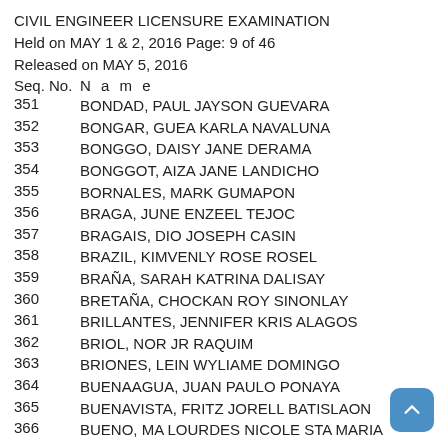CIVIL ENGINEER LICENSURE EXAMINATION
Held on MAY 1 & 2, 2016 Page: 9 of 46
Released on MAY 5, 2016
| Seq. No. | N a m e |
| --- | --- |
| 351 | BONDAD, PAUL JAYSON GUEVARA |
| 352 | BONGAR, GUEA KARLA NAVALUNA |
| 353 | BONGGO, DAISY JANE DERAMA |
| 354 | BONGGOT, AIZA JANE LANDICHO |
| 355 | BORNALES, MARK GUMAPON |
| 356 | BRAGA, JUNE ENZEEL TEJOC |
| 357 | BRAGAIS, DIO JOSEPH CASIN |
| 358 | BRAZIL, KIMVENLY ROSE ROSEL |
| 359 | BRAÑA, SARAH KATRINA DALISAY |
| 360 | BRETAÑA, CHOCKAN ROY SINONLAY |
| 361 | BRILLANTES, JENNIFER KRIS ALAGOS |
| 362 | BRIOL, NOR JR RAQUIM |
| 363 | BRIONES, LEIN WYLIAME DOMINGO |
| 364 | BUENAAGUA, JUAN PAULO PONAYA |
| 365 | BUENAVISTA, FRITZ JORELL BATISLAON |
| 366 | BUENO, MA LOURDES NICOLE STA MARIA |